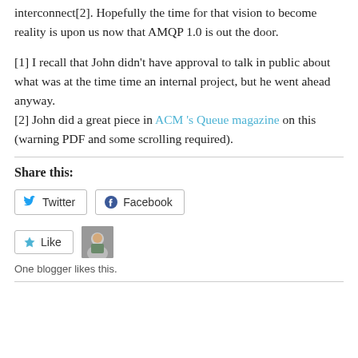interconnect[2]. Hopefully the time for that vision to become reality is upon us now that AMQP 1.0 is out the door.
[1] I recall that John didn't have approval to talk in public about what was at the time time an internal project, but he went ahead anyway.
[2] John did a great piece in ACM 's Queue magazine on this (warning PDF and some scrolling required).
Share this:
Twitter  Facebook
Like
One blogger likes this.